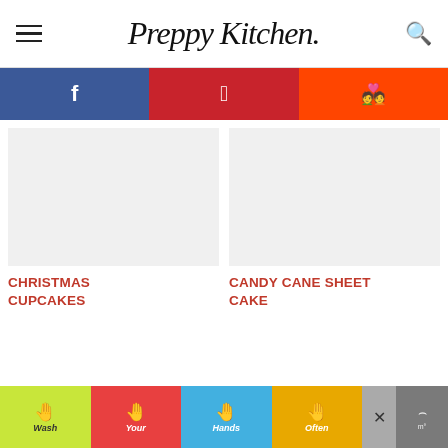Preppy Kitchen
[Figure (screenshot): Social share bar with Facebook (blue), Pinterest (red), and Reddit (orange) buttons]
[Figure (other): Blank image placeholder for Christmas Cupcakes article]
CHRISTMAS CUPCAKES
[Figure (other): Blank image placeholder for Candy Cane Sheet Cake article]
CANDY CANE SHEET CAKE
[Figure (screenshot): Advertisement banner: Wash Your Hands Often with colorful hand illustrations]